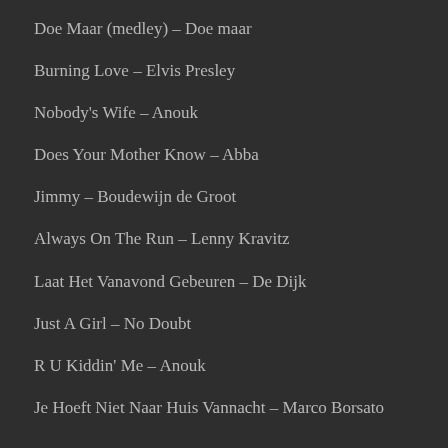Doe Maar (medley) – Doe maar
Burning Love – Elvis Presley
Nobody's Wife – Anouk
Does Your Mother Know – Abba
Jimmy – Boudewijn de Groot
Always On The Run – Lenny Kravitz
Laat Het Vanavond Gebeuren – De Dijk
Just A Girl – No Doubt
R U Kiddin' Me – Anouk
Je Hoeft Niet Naar Huis Vannacht – Marco Borsato